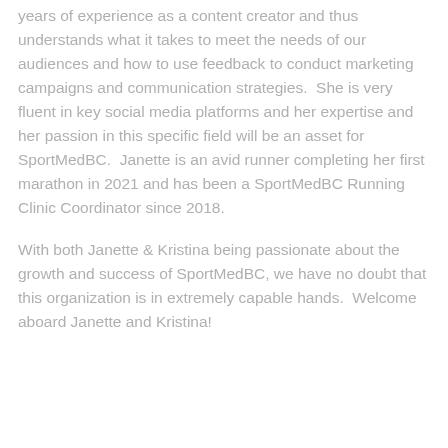years of experience as a content creator and thus understands what it takes to meet the needs of our audiences and how to use feedback to conduct marketing campaigns and communication strategies.  She is very fluent in key social media platforms and her expertise and her passion in this specific field will be an asset for SportMedBC.  Janette is an avid runner completing her first marathon in 2021 and has been a SportMedBC Running Clinic Coordinator since 2018.
With both Janette & Kristina being passionate about the growth and success of SportMedBC, we have no doubt that this organization is in extremely capable hands.  Welcome aboard Janette and Kristina!